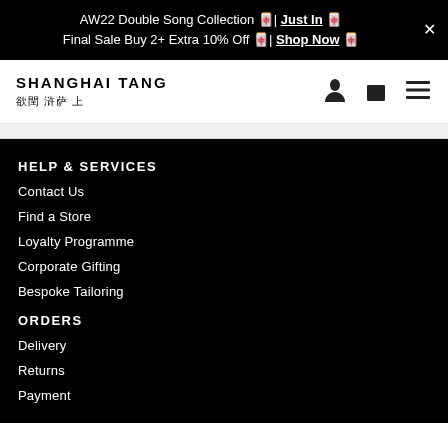AW22 Double Song Collection 🀄| Just In 🀄 Final Sale Buy 2+ Extra 10% Off 🀄| Shop Now 🀄
[Figure (logo): Shanghai Tang logo with Chinese characters below]
HELP & SERVICES
Contact Us
Find a Store
Loyalty Programme
Corporate Gifting
Bespoke Tailoring
ORDERS
Delivery
Returns
Payment